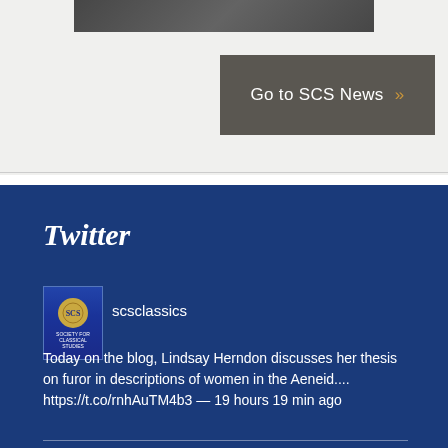[Figure (photo): Dark decorative image bar at the top of the page]
Go to SCS News »
Twitter
[Figure (logo): Society for Classical Studies logo - blue book cover style avatar for scsclassics Twitter account]
scsclassics
Today on the blog, Lindsay Herndon discusses her thesis on furor in descriptions of women in the Aeneid.... https://t.co/rnhAuTM4b3 — 19 hours 19 min ago